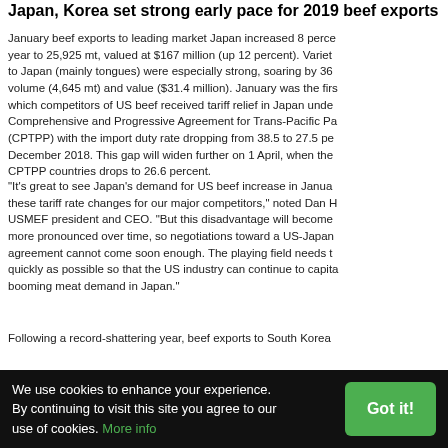Japan, Korea set strong early pace for 2019 beef exports
January beef exports to leading market Japan increased 8 percent year to 25,925 mt, valued at $167 million (up 12 percent). Variety meats to Japan (mainly tongues) were especially strong, soaring by 36 percent in volume (4,645 mt) and value ($31.4 million). January was the first month in which competitors of US beef received tariff relief in Japan under the Comprehensive and Progressive Agreement for Trans-Pacific Partnership (CPTPP) with the import duty rate dropping from 38.5 to 27.5 percent in December 2018. This gap will widen further on 1 April, when the rate for CPTPP countries drops to 26.6 percent.
"It's great to see Japan's demand for US beef increase in January despite these tariff rate changes for our major competitors," noted Dan H, USMEF president and CEO. "But this disadvantage will become even more pronounced over time, so negotiations toward a US-Japan trade agreement cannot come soon enough. The playing field needs to be leveled as quickly as possible so that the US industry can continue to capitalize on the booming meat demand in Japan."
Following a record-shattering year, beef exports to South Korea...
We use cookies to enhance your experience. By continuing to visit this site you agree to our use of cookies. More info